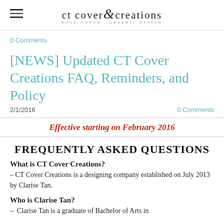ct cover creations BOOK COVER GRAPHIC DESIGN
0 Comments
[NEWS] Updated CT Cover Creations FAQ, Reminders, and Policy
2/1/2016   0 Comments
Effective starting on February 2016
FREQUENTLY ASKED QUESTIONS
What is CT Cover Creations?
– CT Cover Creations is a designing company established on July 2013 by Clarise Tan.
Who is Clarise Tan?
– Clarise Tan is a graduate of Bachelor of Arts in